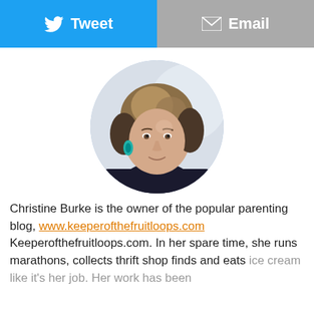[Figure (other): Tweet button (blue with Twitter bird icon) and Email button (grey with envelope icon) side by side]
[Figure (photo): Circular portrait photo of Christine Burke, a woman with shoulder-length blonde/brown hair, wearing teal earrings and a dark top, photographed indoors against a bright background.]
Christine Burke is the owner of the popular parenting blog, www.keeperofthefruitloops.com Keeperofthefruitloops.com. In her spare time, she runs marathons, collects thrift shop finds and eats ice cream like it's her job. Her work has been